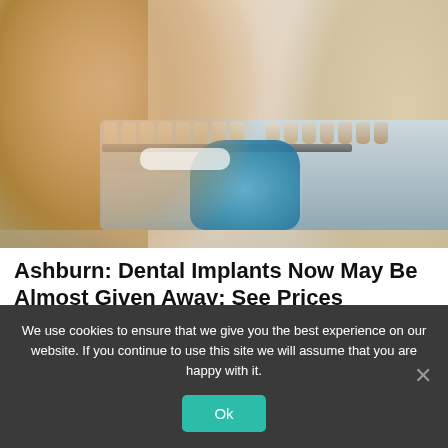[Figure (photo): Smiling blonde woman holding a dental shade guide/tooth color chart held by a gloved hand, dental implant advertisement image]
Ashburn: Dental Implants Now May Be Almost Given Away: See Prices
Dental Implants | Sponsored
Search Now
We use cookies to ensure that we give you the best experience on our website. If you continue to use this site we will assume that you are happy with it.
Ok